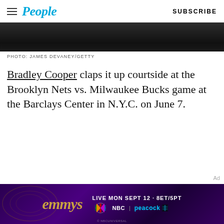People | SUBSCRIBE
[Figure (photo): Dark cropped photo of a person, partially visible at bottom of frame]
PHOTO: JAMES DEVANEY/GETTY
Bradley Cooper claps it up courtside at the Brooklyn Nets vs. Milwaukee Bucks game at the Barclays Center in N.Y.C. on June 7.
[Figure (infographic): Emmys advertisement banner: LIVE MON SEPT 12 · 8ET/5PT NBC | peacock]